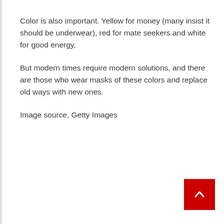Color is also important. Yellow for money (many insist it should be underwear), red for mate seekers and white for good energy.
But modern times require modern solutions, and there are those who wear masks of these colors and replace old ways with new ones.
Image source, Getty Images
[Figure (other): Red square button with white upward-pointing chevron arrow (back to top button)]